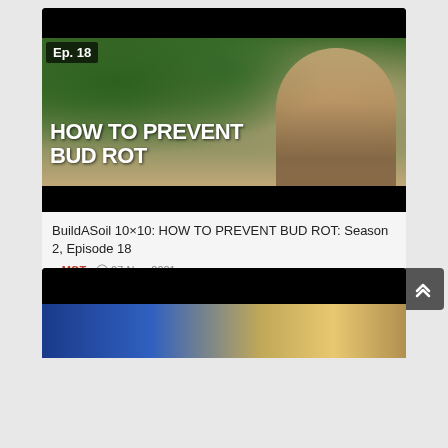[Figure (screenshot): Video thumbnail for Episode 18 showing a man in a greenhouse with cannabis plants, with bold white text overlay reading 'HOW TO PREVENT BUD ROT' and an 'Ep. 18' badge in the top left corner. Black bars at top and bottom.]
BuildASoil 10×10: HOW TO PREVENT BUD ROT: Season 2, Episode 18
MGT   07 Nov, 2021
[Figure (screenshot): Partially visible second video thumbnail with black top section and a colorful blue/gold lower section, cut off at the bottom of the page.]